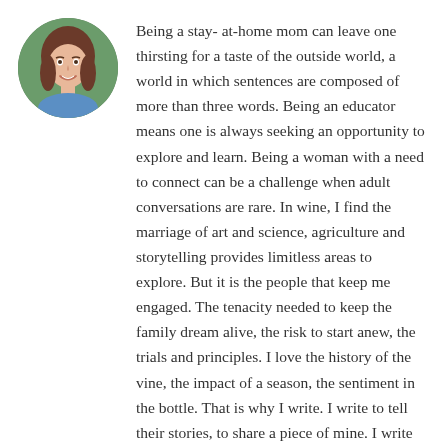[Figure (photo): Circular profile photo of a smiling woman with long brown hair, wearing a blue top, against a green outdoor background.]
Being a stay- at-home mom can leave one thirsting for a taste of the outside world, a world in which sentences are composed of more than three words. Being an educator means one is always seeking an opportunity to explore and learn. Being a woman with a need to connect can be a challenge when adult conversations are rare. In wine, I find the marriage of art and science, agriculture and storytelling provides limitless areas to explore. But it is the people that keep me engaged. The tenacity needed to keep the family dream alive, the risk to start anew, the trials and principles. I love the history of the vine, the impact of a season, the sentiment in the bottle. That is why I write. I write to tell their stories, to share a piece of mine. I write to learn as I teach others. I write to connect with new friends, to disconnect from the world. I write to celebrate what makes each of us unique, and that which ties us together.